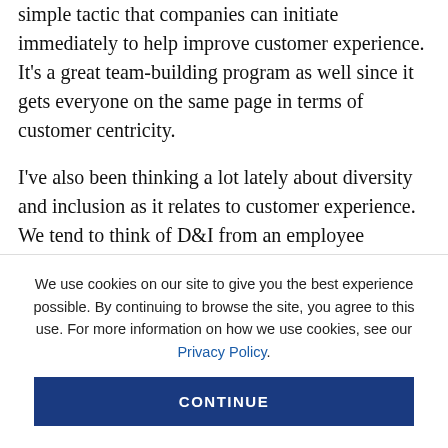simple tactic that companies can initiate immediately to help improve customer experience. It's a great team-building program as well since it gets everyone on the same page in terms of customer centricity.
I've also been thinking a lot lately about diversity and inclusion as it relates to customer experience. We tend to think of D&I from an employee experience perspective, but clearly our customer base is also diverse in many ways, and a good customer experience
We use cookies on our site to give you the best experience possible. By continuing to browse the site, you agree to this use. For more information on how we use cookies, see our Privacy Policy.
CONTINUE